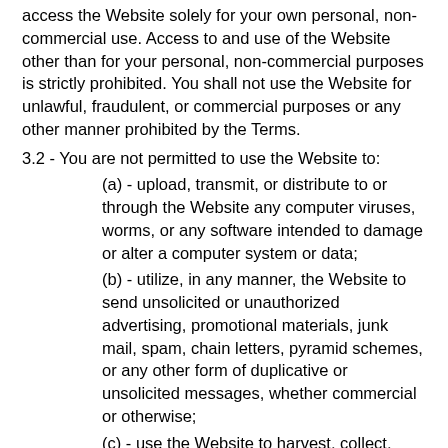access the Website solely for your own personal, non-commercial use. Access to and use of the Website other than for your personal, non-commercial purposes is strictly prohibited. You shall not use the Website for unlawful, fraudulent, or commercial purposes or any other manner prohibited by the Terms.
3.2 - You are not permitted to use the Website to:
(a) - upload, transmit, or distribute to or through the Website any computer viruses, worms, or any software intended to damage or alter a computer system or data;
(b) - utilize, in any manner, the Website to send unsolicited or unauthorized advertising, promotional materials, junk mail, spam, chain letters, pyramid schemes, or any other form of duplicative or unsolicited messages, whether commercial or otherwise;
(c) - use the Website to harvest, collect, gather or assemble information or data regarding other Users, including e-mail